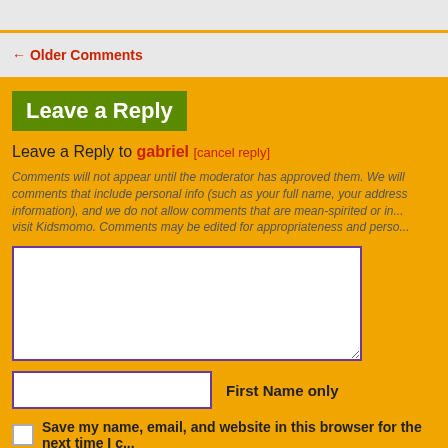← Older Comments
Leave a Reply
Leave a Reply to gabriel [cancel reply]
Comments will not appear until the moderator has approved them. We will remove comments that include personal info (such as your full name, your address information), and we do not allow comments that are mean-spirited or in... visit Kidsmomo. Comments may be edited for appropriateness and perso...
First Name only
Save my name, email, and website in this browser for the next time I co...
Post Comment